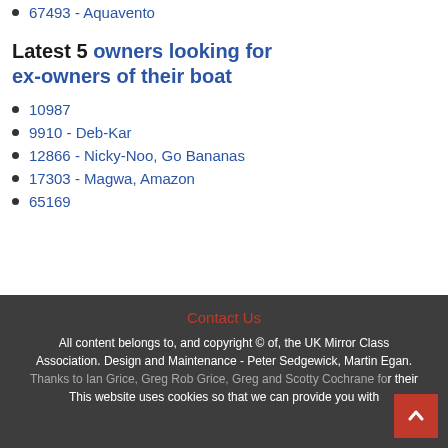67493 - Aquavento
Latest 5 owners looking for ex-owners of their boat
10987
9910 - Deb-Kar
12866 - Nicky-Noo, Go Bananas
17303 - Magwa, Amazon
65169
Contact Us
All content belongs to, and copyright © of, the UK Mirror Class Association. Design and Maintenance - Peter Sedgewick, Martin Egan. Thanks to Ian Grice, Greg Rob Grice, Greg and Scotty Cochrane for their
This website uses cookies so that we can provide you with